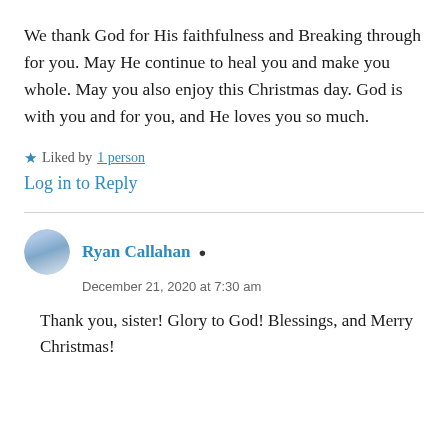We thank God for His faithfulness and Breaking through for you. May He continue to heal you and make you whole. May you also enjoy this Christmas day. God is with you and for you, and He loves you so much.
★ Liked by 1 person
Log in to Reply
Ryan Callahan
December 21, 2020 at 7:30 am
Thank you, sister! Glory to God! Blessings, and Merry Christmas!